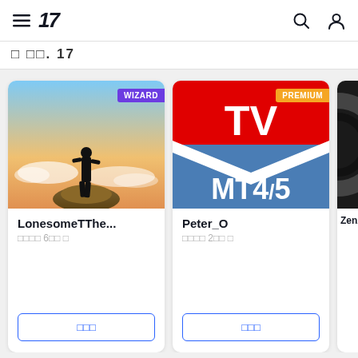TradingView navigation header with hamburger menu, logo, search and user icons
□ □□. 17
[Figure (screenshot): Card 1: Silhouette of person standing on rock at sunset with WIZARD badge. Username: LonesomeTThe... Followers: 6XX. Button: 팔로우]
[Figure (logo): Card 2: TV MT4/5 logo on red and blue background with PREMIUM badge. Username: Peter_O Followers: 2XX. Button: 팔로우]
[Figure (photo): Card 3 (partial): Dark circular logo, partially visible. Username: ZenA...]